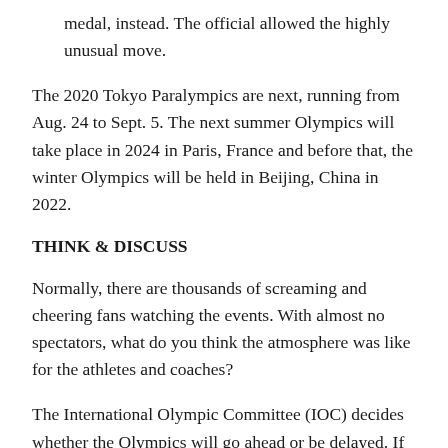medal, instead. The official allowed the highly unusual move.
The 2020 Tokyo Paralympics are next, running from Aug. 24 to Sept. 5. The next summer Olympics will take place in 2024 in Paris, France and before that, the winter Olympics will be held in Beijing, China in 2022.
THINK & DISCUSS
Normally, there are thousands of screaming and cheering fans watching the events. With almost no spectators, what do you think the atmosphere was like for the athletes and coaches?
The International Olympic Committee (IOC) decides whether the Olympics will go ahead or be delayed. If you were on the IOC which way would you have voted and why? Taking into consideration things like the fact that Tokyo